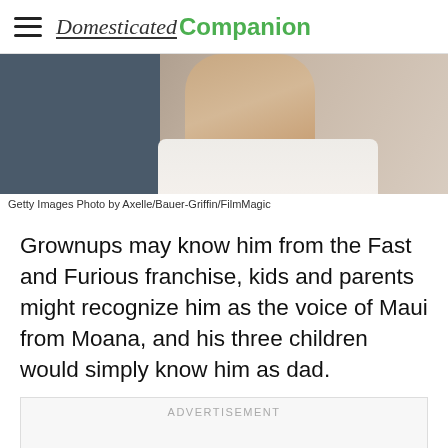Domesticated Companion
[Figure (photo): Close-up photo of a person's neck and collar area, with dark background on left and lighter tones on right]
Getty Images Photo by Axelle/Bauer-Griffin/FilmMagic
Grownups may know him from the Fast and Furious franchise, kids and parents might recognize him as the voice of Maui from Moana, and his three children would simply know him as dad.
ADVERTISEMENT